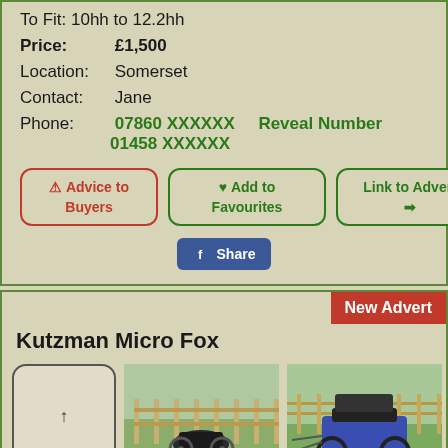To Fit: 10hh to 12.2hh
Price: £1,500
Location: Somerset
Contact: Jane
Phone: 07860 XXXXXX   Reveal Number   01458 XXXXXX
⚠ Advice to Buyers
♥ Add to Favourites
Link to Advert ➔
f Share
New Advert
Kutzman Micro Fox
[Figure (photo): Placeholder image thumbnail with upward arrow]
[Figure (photo): Photo of a horse-drawn cart in a field with wooden fencing]
[Figure (photo): Photo of a blue Kutzman Micro Fox carriage on grass with wooden fencing]